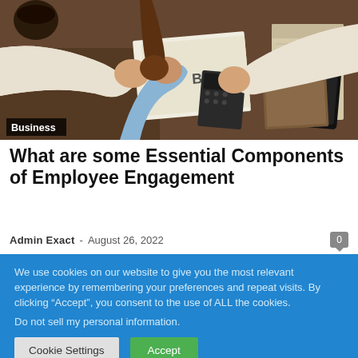[Figure (photo): Overhead view of people fist-bumping over a desk with papers, a calculator, a notebook, and a smartphone]
Business
What are some Essential Components of Employee Engagement
Admin Exact - August 26, 2022
We use cookies on our website to give you the most relevant experience by remembering your preferences and repeat visits. By clicking “Accept”, you consent to the use of ALL the cookies.
Do not sell my personal information.